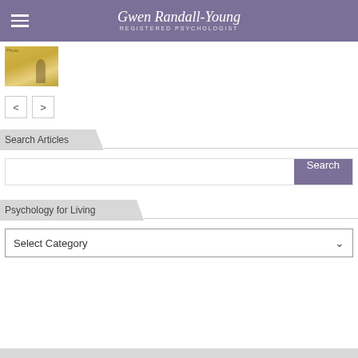Gwen Randall-Young — Registered Psychologist
[Figure (photo): Thumbnail image of a person in a golden field of tall grass]
< >
Search Articles
Search
Psychology for Living
Select Category